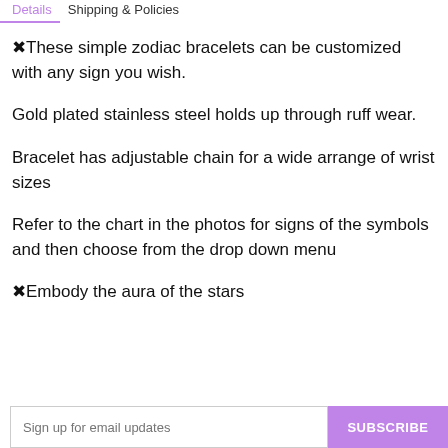Details   Shipping & Policies
✦These simple zodiac bracelets can be customized with any sign you wish.
Gold plated stainless steel holds up through ruff wear.
Bracelet has adjustable chain for a wide arrange of wrist sizes
Refer to the chart in the photos for signs of the symbols and then choose from the drop down menu
✦Embody the aura of the stars
Sign up for email updates   SUBSCRIBE